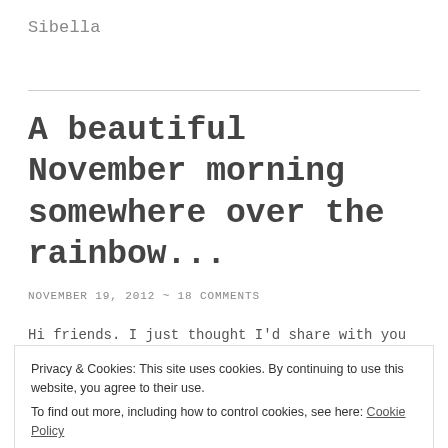Sibella
A beautiful November morning somewhere over the rainbow...
NOVEMBER 19, 2012 ~ 18 COMMENTS
Hi friends. I just thought I'd share with you a photo I
Privacy & Cookies: This site uses cookies. By continuing to use this website, you agree to their use. To find out more, including how to control cookies, see here: Cookie Policy
Close and accept
In a world saturated with negativity, bad news and